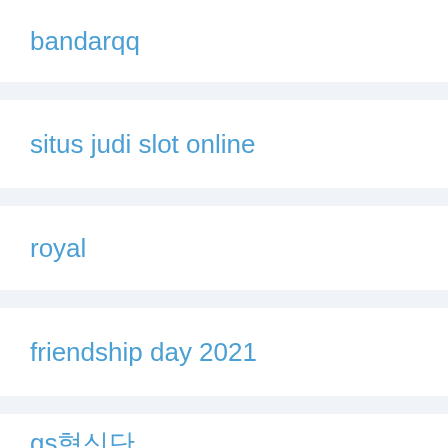bandarqq
situs judi slot online
royal
friendship day 2021
gs혁신단